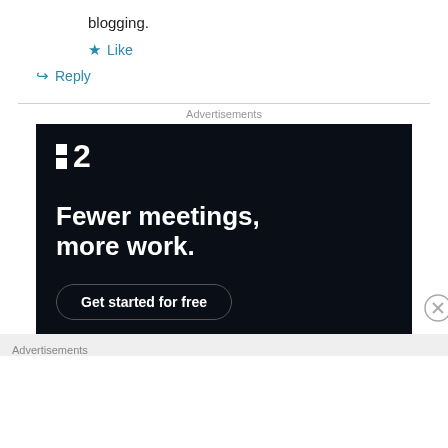blogging.
★ Like
↪ Reply
Advertisements
[Figure (other): Advertisement banner for a project management tool. Dark navy background with white logo (two small squares and the number 2). Headline reads: Fewer meetings, more work. Button: Get started for free.]
Advertisements